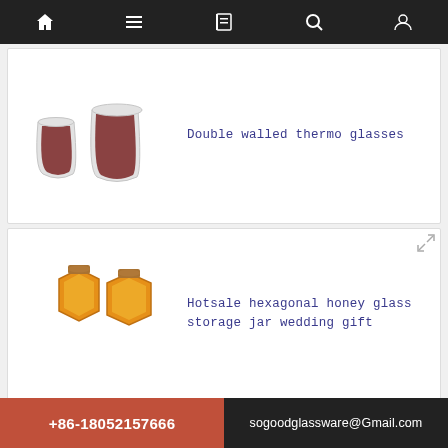Navigation bar with home, menu, book, search, and profile icons
Double walled thermo glasses
[Figure (photo): Two double-walled thermo glasses with dark liquid inside]
Hotsale hexagonal honey glass storage jar wedding gift
[Figure (photo): Two hexagonal honey glass jars with wooden caps, orange/amber color]
Wide Mouth Mason Glass Jars Quilted Crystal with Lids
[Figure (photo): Four wide mouth mason glass jars with quilted crystal pattern and lids]
Glass Mason Jar with Silver Screw Cap
[Figure (photo): One glass mason jar with silver screw cap and separate lids]
+86-18052157666  sogoodglassware@Gmail.com